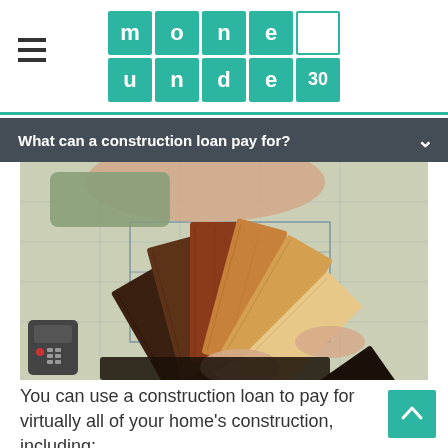money under 30
What can a construction loan pay for?
[Figure (photo): Hands holding fan of wood material samples / swatches spread over architectural blueprints, with a remote control visible at the lower left]
You can use a construction loan to pay for virtually all of your home's construction, including: